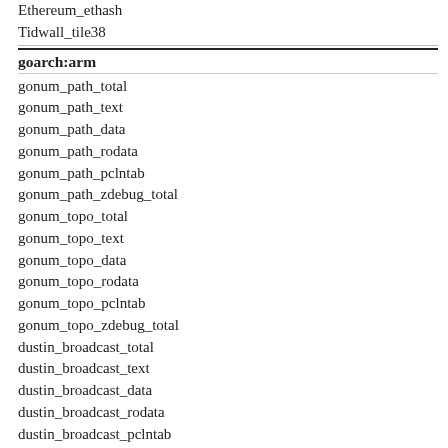Ethereum_ethash
Tidwall_tile38
goarch:arm
gonum_path_total
gonum_path_text
gonum_path_data
gonum_path_rodata
gonum_path_pclntab
gonum_path_zdebug_total
gonum_topo_total
gonum_topo_text
gonum_topo_data
gonum_topo_rodata
gonum_topo_pclntab
gonum_topo_zdebug_total
dustin_broadcast_total
dustin_broadcast_text
dustin_broadcast_data
dustin_broadcast_rodata
dustin_broadcast_pclntab
dustin_broadcast_zdebug_total
aws_jsonrpc_total
aws_jsonrpc_text